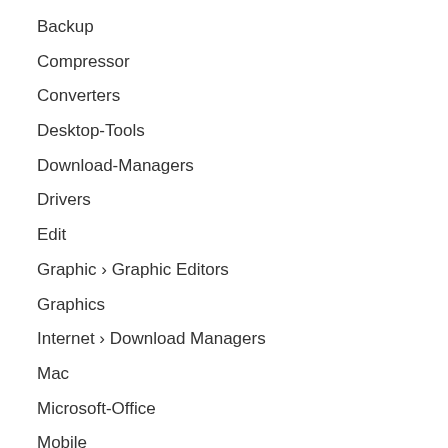Backup
Compressor
Converters
Desktop-Tools
Download-Managers
Drivers
Edit
Graphic › Graphic Editors
Graphics
Internet › Download Managers
Mac
Microsoft-Office
Mobile